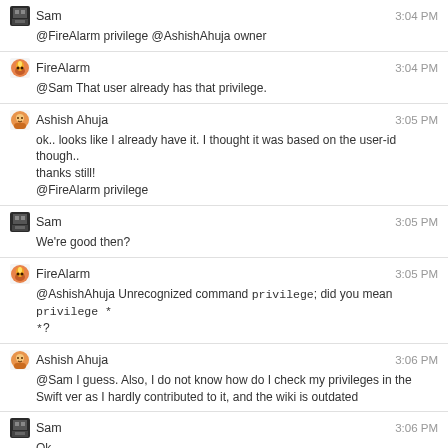Sam 3:04 PM @FireAlarm privilege @AshishAhuja owner
FireAlarm 3:04 PM @Sam That user already has that privilege.
Ashish Ahuja 3:05 PM ok.. looks like I already have it. I thought it was based on the user-id though.. thanks still! @FireAlarm privilege
Sam 3:05 PM We're good then?
FireAlarm 3:05 PM @AshishAhuja Unrecognized command privilege; did you mean privilege *
*?
Ashish Ahuja 3:06 PM @Sam I guess. Also, I do not know how do I check my privileges in the Swift ver as I hardly contributed to it, and the wiki is outdated
Sam 3:06 PM Ok
Bhargav Rao 3:29 PM Salvagable to make it a good question? stackoverflow.com/q/42053951/4099593